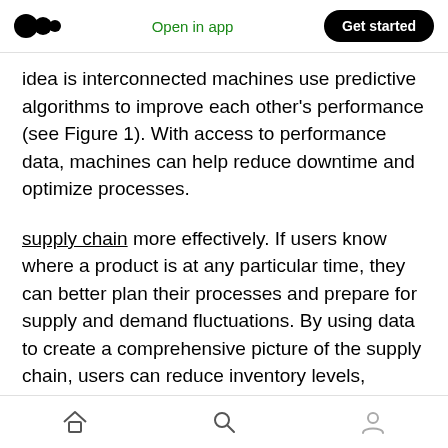Open in app | Get started
idea is interconnected machines use predictive algorithms to improve each other's performance (see Figure 1). With access to performance data, machines can help reduce downtime and optimize processes.
supply chain more effectively. If users know where a product is at any particular time, they can better plan their processes and prepare for supply and demand fluctuations. By using data to create a comprehensive picture of the supply chain, users can reduce inventory levels, stocking only what
Home | Search | Profile